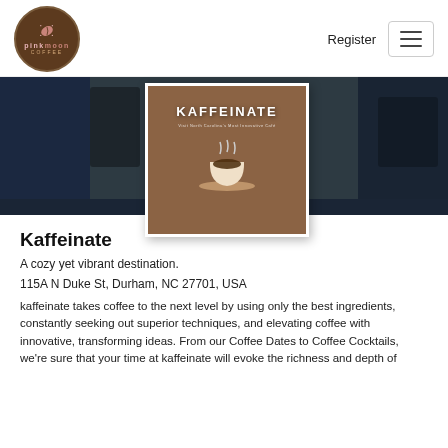[Figure (logo): Pink Moon Coffee circular logo with coffee bean icon, dark brown background, decorative border]
Register
[Figure (screenshot): Image strip with dark navy sections on left and right, and a centered overlay card showing KAFFEINATE title over a coffee cup photo on a wooden table background]
Kaffeinate
A cozy yet vibrant destination.
115A N Duke St, Durham, NC 27701, USA
kaffeinate takes coffee to the next level by using only the best ingredients, constantly seeking out superior techniques, and elevating coffee with innovative, transforming ideas. From our Coffee Dates to Coffee Cocktails, we're sure that your time at kaffeinate will evoke the richness and depth of